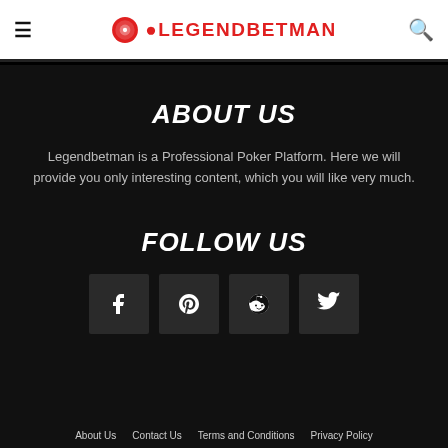LEGENDBETMAN
ABOUT US
Legendbetman is a Professional Poker Platform. Here we will provide you only interesting content, which you will like very much.
FOLLOW US
[Figure (infographic): Four social media icon buttons in a row: Facebook, Pinterest, Reddit, Twitter]
About Us   Contact Us   Terms and Conditions   Privacy Policy